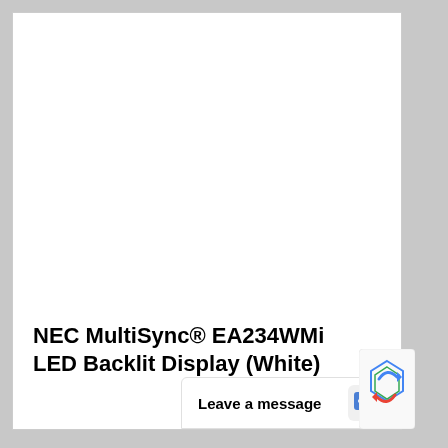[Figure (photo): Large white blank area — product image area (appears blank/white in this rendering)]
NEC MultiSync® EA234WMi LED Backlit Display (White)